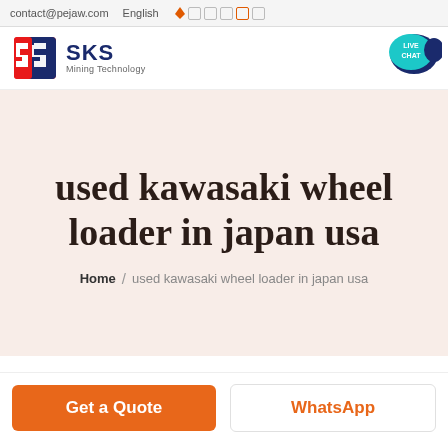contact@pejaw.com  English
[Figure (logo): SKS Mining Technology logo with stylized red and blue S icon and text 'SKS Mining Technology']
[Figure (other): Live Chat button bubble in teal/cyan color with speech bubble icon]
used kawasaki wheel loader in japan usa
Home / used kawasaki wheel loader in japan usa
Get a Quote   WhatsApp